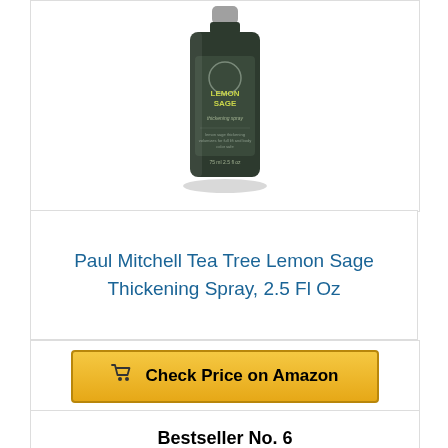[Figure (photo): Paul Mitchell Tea Tree Lemon Sage Thickening Spray bottle, dark green/black cylindrical bottle with cap, 75ml / 2.5 fl oz]
Paul Mitchell Tea Tree Lemon Sage Thickening Spray, 2.5 Fl Oz
Check Price on Amazon
Bestseller No. 6
[Figure (photo): Pink spray bottle product, partially visible at bottom of page]